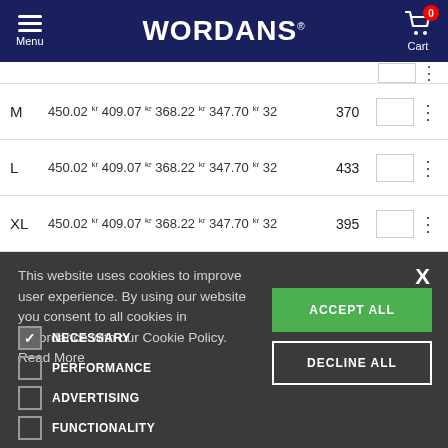[Figure (screenshot): Wordans website header with navy background, hamburger menu on left, WORDANS logo in center, cart icon with 0 badge on right]
| Size | Price 1 | Price 2 | Price 3 | Price 4 | Price 5 | Stock | Qty |  |
| --- | --- | --- | --- | --- | --- | --- | --- | --- |
| M | 450.02 kr | 409.07 kr | 368.22 kr | 347.70 kr | 3... | 370 |  | ⋮ |
| L | 450.02 kr | 409.07 kr | 368.22 kr | 347.70 kr | 3... | 433 |  | ⋮ |
| XL | 450.02 kr | 409.07 kr | 368.22 kr | 347.70 kr | 3... | 395 |  | ⋮ |
This website uses cookies to improve user experience. By using our website you consent to all cookies in accordance with our Cookie Policy. Read More
NECESSARY (checked)
PERFORMANCE
ADVERTISING
FUNCTIONALITY